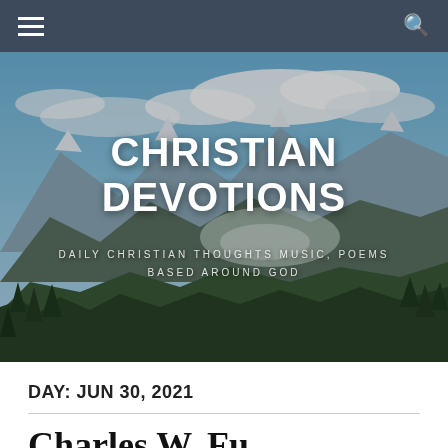Navigation bar with hamburger menu and search icon
[Figure (photo): Mountain landscape with snow-capped peaks, evergreen forest, valley, and blue cloudy sky. Overlaid with website title 'CHRISTIAN DEVOTIONS' and subtitle 'DAILY CHRISTIAN THOUGHTS MUSIC, POEMS BASED AROUND GOD']
CHRISTIAN DEVOTIONS
DAILY CHRISTIAN THOUGHTS MUSIC, POEMS BASED AROUND GOD
DAY: JUN 30, 2021
Charles W. Fu...